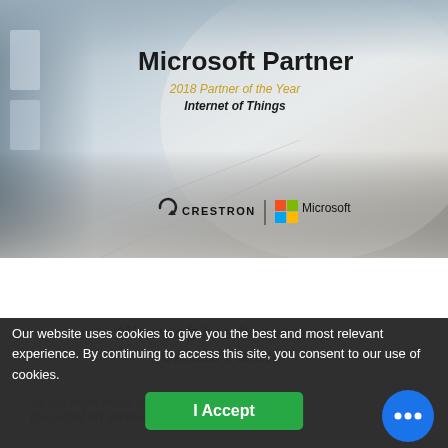[Figure (photo): Microsoft Partner award banner with Crestron and Microsoft logos. Shows a modern corridor/hallway background in grey tones. Text reads 'Microsoft Partner', '2018 Partner of the Year', 'Internet of Things'. Crestron and Microsoft logos appear at the bottom of the image with a dividing line.]
Our website uses cookies to give you the best and most relevant experience. By continuing to access this site, you consent to our use of cookies.
I Accept